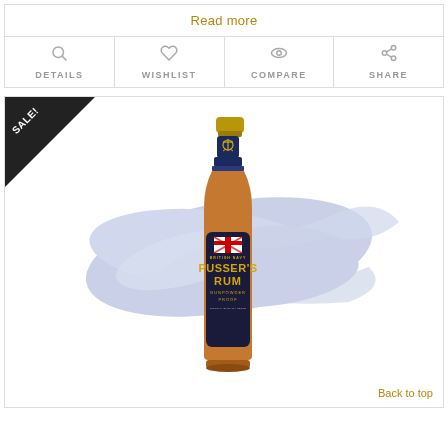Read more
DETAILS
WISHLIST
COMPARE
SHARE
[Figure (photo): Bottle of Pusser's Rum Gunpowder Proof British Navy rum with blue ink splash background and SALE! banner in top left corner]
Back to top